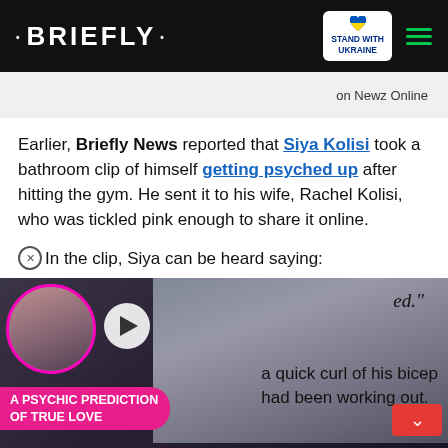• BRIEFLY • | STAND WITH UKRAINE
on Newz Online
Earlier, Briefly News reported that Siya Kolisi took a bathroom clip of himself getting psyched up after hitting the gym. He sent it to his wife, Rachel Kolisi, who was tickled pink enough to share it online.
In the clip, Siya can be heard saying:
[Figure (screenshot): Video overlay showing a woman's face, a play button, partial text 'ed.' and 'a quick curl of his bicep / had been working out.' with a pink label 'A PSYCHIC PREDICTION OF TRUE LOVE' and a red chevron button]
Stand With Ukraine — Donate to save the lives of millions of children